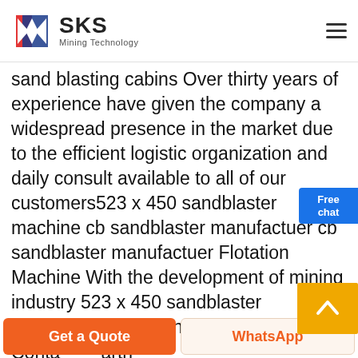[Figure (logo): SKS Mining Technology logo with red and blue geometric icon and company name]
sand blasting cabins Over thirty years of experience have given the company a widespread presence in the market due to the efficient logistic organization and daily consult available to all of our customers523 x 450 sandblaster machine cb sandblaster manufactuer cb sandblaster manufactuer Flotation Machine With the development of mining industry 523 x 450 sandblaster machine sandblaster gun manufacturers Conta arth
Free chat
[Figure (other): Orange scroll-to-top button with upward chevron arrow]
Get a Quote
WhatsApp